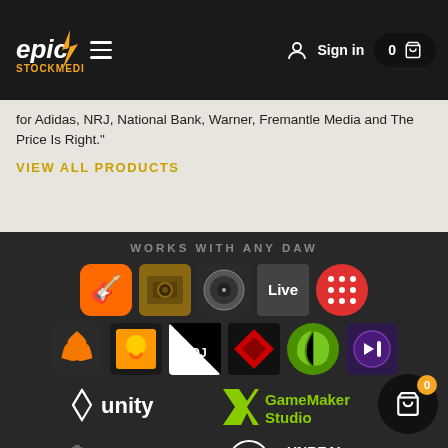Epic Stock Media — Sign in — Cart 0
for Adidas, NRJ, National Bank, Warner, Fremantle Media and The Price Is Right."
VIEW ALL PRODUCTS
WORKS WITH ANY DAW
[Figure (logo): Row of DAW application icons: GarageBand mobile, GarageBand desktop, Logic Pro X, Ableton Live, Bitwig/other red dot grid app]
[Figure (logo): Row of DAW/software icons: Native Instruments, FL Studio, VirtualDJ black/white, Cakewalk, Reason, Avid Pro Tools]
[Figure (logo): Unity logo and GameMaker Studio logo]
[Figure (logo): Construct 2 logo and Unreal Engine logo]